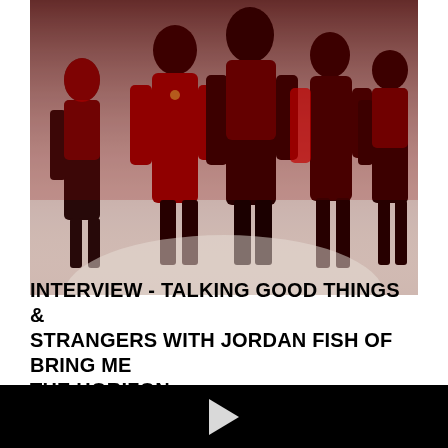[Figure (photo): Band photo of Bring Me The Horizon members dressed in dark clothing with red lighting against a light background. Multiple figures in dramatic poses with red and black color palette.]
INTERVIEW - TALKING GOOD THINGS & STRANGERS WITH JORDAN FISH OF BRING ME THE HORIZON
[Figure (screenshot): Black video player area with a white play button triangle in the center.]